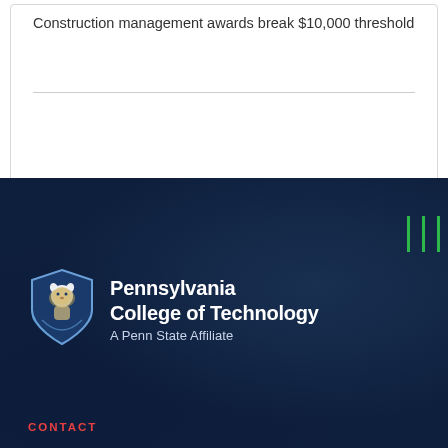Construction management awards break $10,000 threshold
[Figure (logo): Pennsylvania College of Technology shield logo with lion mascot, navy blue background]
Pennsylvania College of Technology
A Penn State Affiliate
CONTACT
One College Avenue
Williamsport, PA 17701
P: +1.570.320.2400
P: +1.800.367.9222